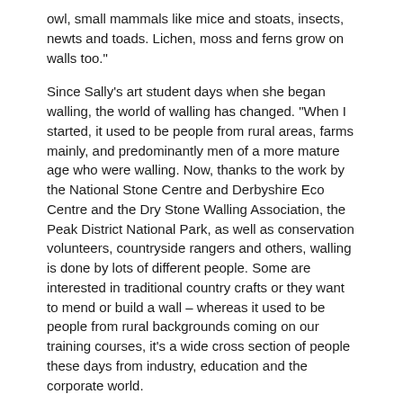owl, small mammals like mice and stoats, insects, newts and toads. Lichen, moss and ferns grow on walls too."
Since Sally's art student days when she began walling, the world of walling has changed. "When I started, it used to be people from rural areas, farms mainly, and predominantly men of a more mature age who were walling. Now, thanks to the work by the National Stone Centre and Derbyshire Eco Centre and the Dry Stone Walling Association, the Peak District National Park, as well as conservation volunteers, countryside rangers and others, walling is done by lots of different people. Some are interested in traditional country crafts or they want to mend or build a wall – whereas it used to be people from rural backgrounds coming on our training courses, it's a wide cross section of people these days from industry, education and the corporate world.
"The mainstream media and popular television programmes have helped change walling's image, people see it differently now and it is being done for different reasons from landscaping work to sculpture to garden rooms and show gardens - it is very varied. The work of Andy Goldsworthy opened people's eyes to dry stone walls as an art form.
"Stone is a fascinating medium, we have had to rely on it all our lives whether it's forming the buildings we live in or the roads we travel on – its use is very ingrained in us, it goes back into prehistory when we lived in